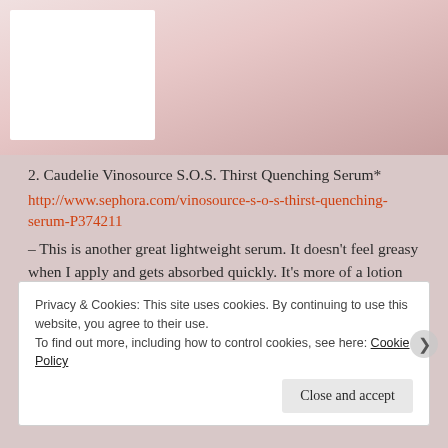[Figure (photo): Top portion shows a decorative background with bokeh/floral pink tones and a white rectangular image box on the left side]
2. Caudelie Vinosource S.O.S. Thirst Quenching Serum*
http://www.sephora.com/vinosource-s-o-s-thirst-quenching-serum-P374211
– This is another great lightweight serum. It doesn't feel greasy when I apply and gets absorbed quickly. It's more of a lotion compared to the Klairs one. Major thanks to Amy for introducing it to me.
Privacy & Cookies: This site uses cookies. By continuing to use this website, you agree to their use.
To find out more, including how to control cookies, see here: Cookie Policy
Close and accept